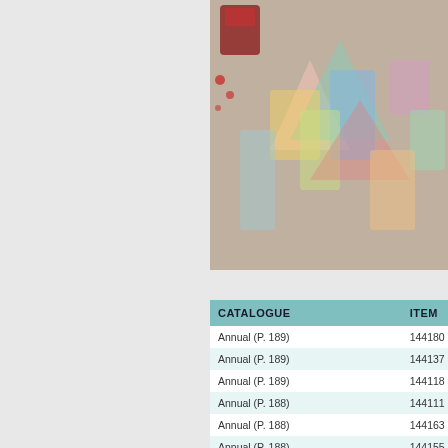[Figure (illustration): Promotional banner showing colorful paper craft / book illustration with sale text: SAL..., BUY 3, G..., STOCK UP A..., date 1-31...]
| CATALOGUE | ITEM | DESCRIPTION |
| --- | --- | --- |
| Annual (P. 189) | 144180 | Just Add Color S... |
| Annual (P. 189) | 144137 | Delightful Dersy... |
| Annual (P. 189) | 144118 | Birthday Memor... |
| Annual (P. 188) | 144111 | Be Merry Design... |
| Annual (P. 188) | 144163 | Pick A Pattern D... |
| Annual (P. 188) | 144155 | Coffee Break De... |
| Annual (P. 188) | 144185 | Naturally Eclectic... |
| Annual (P. 188) | 144110 | Whole Lot Of Lo... |
| Annual (P. 187) | 144168 | Petal Garden De... |
| Annual (P. 187) | 144193 | Color Theory De... |
| Annual (P. 187) | 144177 | Wood Textures D... |
| Holiday (P. 29) | 144629 | Christmas Aroun... |
| Holiday (P. 49) | 144613 | Painted Autumn... |